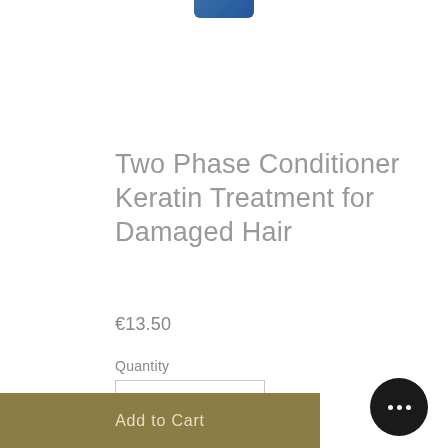[Figure (photo): Partial view of a hair care product bottle (blue cap visible at top of page)]
Two Phase Conditioner Keratin Treatment for Damaged Hair
€13.50
Quantity
1
Add to Cart